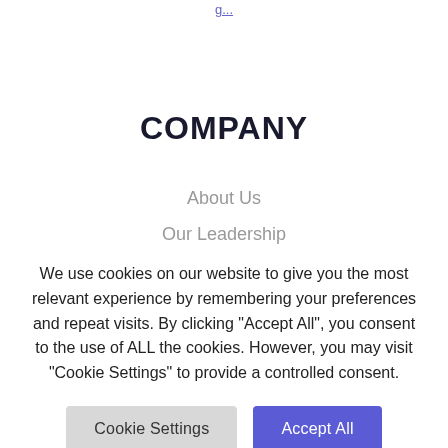g...
COMPANY
About Us
Our Leadership
We use cookies on our website to give you the most relevant experience by remembering your preferences and repeat visits. By clicking “Accept All”, you consent to the use of ALL the cookies. However, you may visit "Cookie Settings" to provide a controlled consent.
Cookie Settings | Accept All